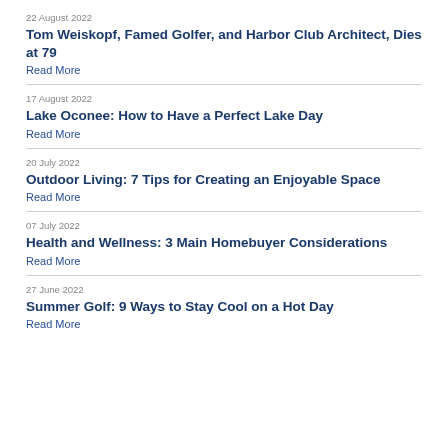22 August 2022
Tom Weiskopf, Famed Golfer, and Harbor Club Architect, Dies at 79
Read More
17 August 2022
Lake Oconee: How to Have a Perfect Lake Day
Read More
20 July 2022
Outdoor Living: 7 Tips for Creating an Enjoyable Space
Read More
07 July 2022
Health and Wellness: 3 Main Homebuyer Considerations
Read More
27 June 2022
Summer Golf: 9 Ways to Stay Cool on a Hot Day
Read More